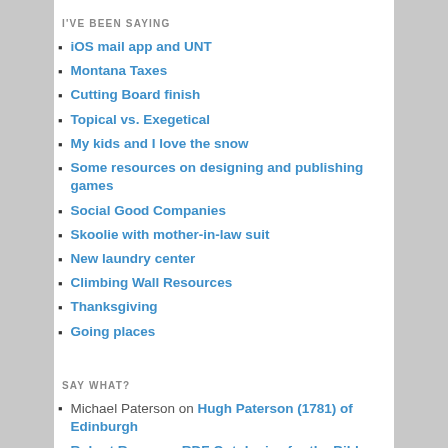I'VE BEEN SAYING
iOS mail app and UNT
Montana Taxes
Cutting Board finish
Topical vs. Exegetical
My kids and I love the snow
Some resources on designing and publishing games
Social Good Companies
Skoolie with mother-in-law suit
New laundry center
Climbing Wall Resources
Thanksgiving
Going places
SAY WHAT?
Michael Paterson on Hugh Paterson (1781) of Edinburgh
Robert Rouse on RDF Ontologies for the Bible
Oma on The climbing gym 2nd time